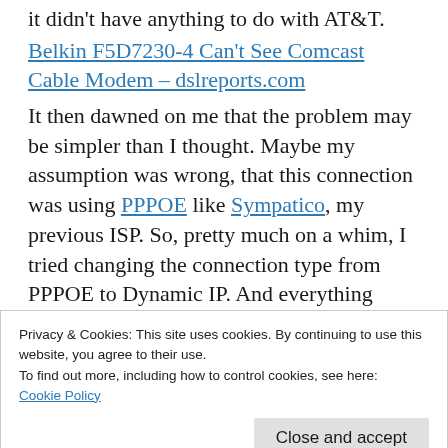it didn't have anything to do with AT&T.
Belkin F5D7230-4 Can't See Comcast Cable Modem – dslreports.com
It then dawned on me that the problem may be simpler than I thought. Maybe my assumption was wrong, that this connection was using PPPOE like Sympatico, my previous ISP. So, pretty much on a whim, I tried changing the connection type from PPPOE to Dynamic IP. And everything worked flawlessly.
Apart from experience with Bell's Sympatico
Privacy & Cookies: This site uses cookies. By continuing to use this website, you agree to their use.
To find out more, including how to control cookies, see here:
Cookie Policy
Close and accept
with th                            )